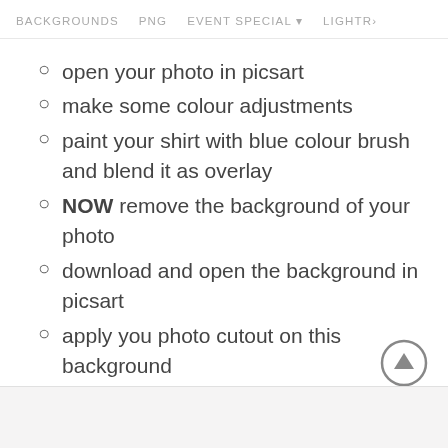BACKGROUNDS   PNG   EVENT SPECIAL ▼   LIGHTR›
open your photo in picsart
make some colour adjustments
paint your shirt with blue colour brush and blend it as overlay
NOW remove the background of your photo
download and open the background in picsart
apply you photo cutout on this background